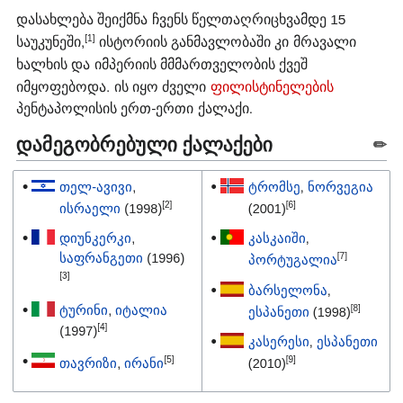დასახლება შეიქმნა ჩვენს წელთაღრიცხვამდე 15 საუკუნეში,[1] ისტორიის განმავლობაში კი მრავალი ხალხის და იმპერიის მმმართველობის ქვეშ იმყოფებოდა. ის იყო ძველი ფილისტინელების პენტაპოლისის ერთ-ერთი ქალაქი.
დამეგობრებული ქალაქები
თელ-ავივი, ისრაელი (1998)[2]
ტრომსე, ნორვეგია (2001)[6]
დიუნკერკი, საფრანგეთი (1996)[3]
კასკაიში, პორტუგალია[7]
ტურინი, იტალია (1997)[4]
ბარსელონა, ესპანეთი (1998)[8]
თავრიზი, ირანი[5]
კასერესი, ესპანეთი (2010)[9]